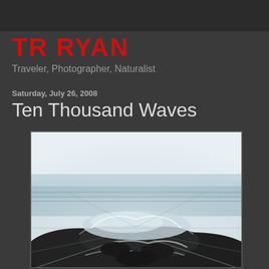TR RYAN
Traveler, Photographer, Naturalist
Saturday, July 26, 2008
Ten Thousand Waves
[Figure (photo): Abstract motion-blur photograph of ocean waves crashing over dark rocks, shot from a low angle with zoom or motion blur effect giving a dynamic, radiating appearance. The image is predominantly blue-grey and white with dark rocky foreground.]